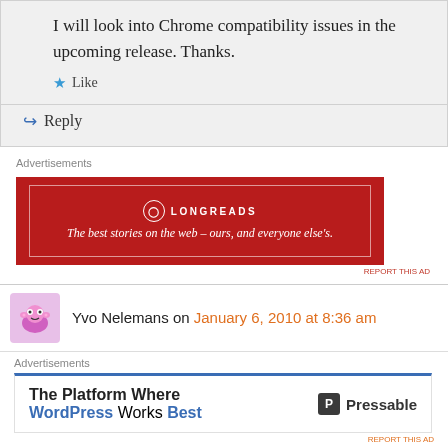I will look into Chrome compatibility issues in the upcoming release. Thanks.
★ Like
↳ Reply
Advertisements
[Figure (other): Longreads advertisement banner: red background with white border, logo and tagline 'The best stories on the web – ours, and everyone else's.']
REPORT THIS AD
Yvo Nelemans on January 6, 2010 at 8:36 am
I've found a small bug in that the orginal text was cut off (seen when using alt_text_t or alt_text_e true)
Advertisements
[Figure (other): Pressable advertisement: 'The Platform Where WordPress Works Best' with Pressable logo]